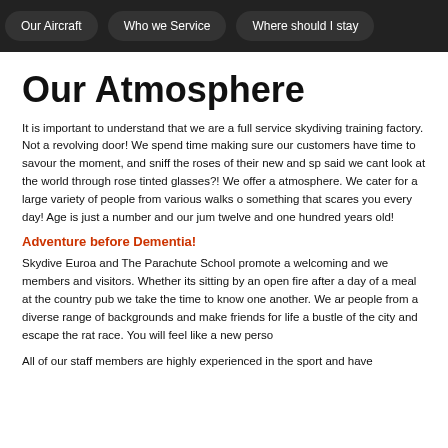Our Aircraft | Who we Service | Where should I stay
Our Atmosphere
It is important to understand that we are a full service skydiving training factory. Not a revolving door! We spend time making sure our customers have time to savour the moment, and sniff the roses of their new and special sport. Who said we cant look at the world through rose tinted glasses?! We offer a relaxed friendly atmosphere. We cater for a large variety of people from various walks of life. Do something that scares you every day! Age is just a number and our jumpers range from twelve and one hundred years old!
Adventure before Dementia!
Skydive Euroa and The Parachute School promote a welcoming and warm environment for members and visitors. Whether its sitting by an open fire after a day of jumping or sharing a meal at the country pub we take the time to know one another. We attract a wonderful people from a diverse range of backgrounds and make friends for life and escape the hustle and bustle of the city and escape the rat race. You will feel like a new person
All of our staff members are highly experienced in the sport and have...